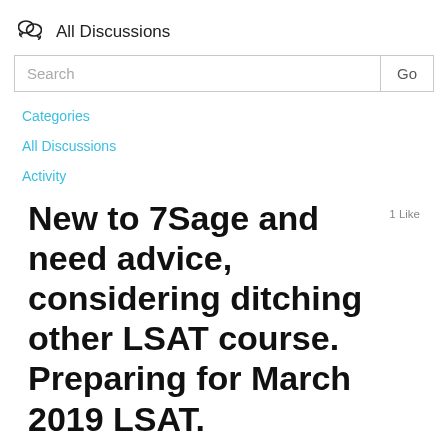All Discussions
Search
Categories
All Discussions
Activity
New to 7Sage and need advice, considering ditching other LSAT course. Preparing for March 2019 LSAT.
1 Like
Allen U.
4 years ago  11 karma